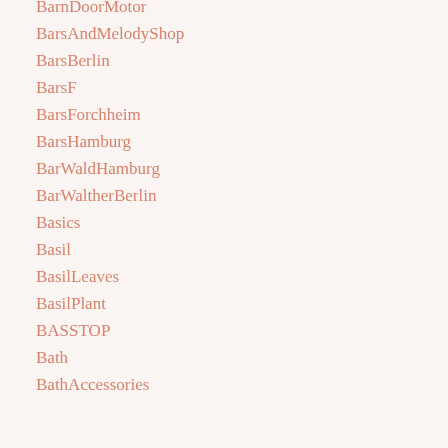BarnDoorMotor
BarsAndMelodyShop
BarsBerlin
BarsF
BarsForchheim
BarsHamburg
BarWaldHamburg
BarWaltherBerlin
Basics
Basil
BasilLeaves
BasilPlant
BASSTOP
Bath
BathAccessories